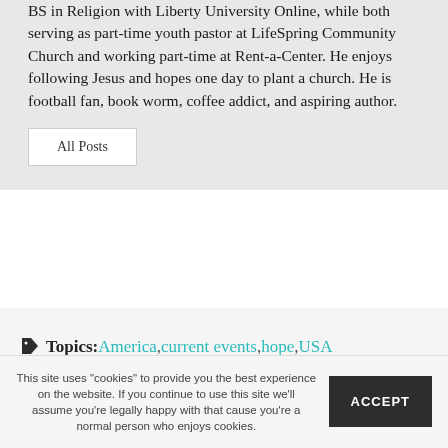BS in Religion with Liberty University Online, while both serving as part-time youth pastor at LifeSpring Community Church and working part-time at Rent-a-Center. He enjoys following Jesus and hopes one day to plant a church. He is football fan, book worm, coffee addict, and aspiring author.
All Posts
Topics: America, current events, hope, USA
This site uses "cookies" to provide you the best experience on the website. If you continue to use this site we'll assume you're legally happy with that cause you're a normal person who enjoys cookies.